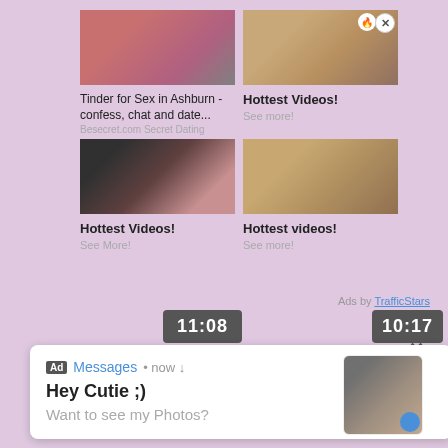[Figure (screenshot): Ad grid with 4 thumbnail images of adult content ads and overlay notification]
Tinder for Sex in Ashburn - confess, chat and date...
Besecret.com Secret Dating
Hottest Videos!
See more!
Hottest Videos!
See More!
Hottest videos!
See more!
Ads by TrafficStars
11:08
10:17
Ad Messages • now ↓
Hey Cutie ;)
Want to see my Photos?